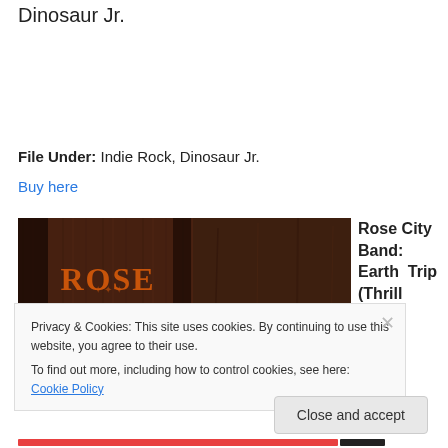Dinosaur Jr.
File Under: Indie Rock, Dinosaur Jr.
Buy here
[Figure (photo): Rose City Band logo on a wooden background with orange and yellow lettering]
Rose City Band: Earth Trip (Thrill
Privacy & Cookies: This site uses cookies. By continuing to use this website, you agree to their use.
To find out more, including how to control cookies, see here: Cookie Policy
Close and accept